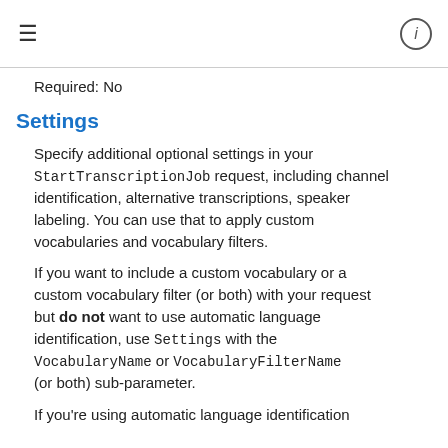≡  ⓘ
Required: No
Settings
Specify additional optional settings in your StartTranscriptionJob request, including channel identification, alternative transcriptions, speaker labeling. You can use that to apply custom vocabularies and vocabulary filters.
If you want to include a custom vocabulary or a custom vocabulary filter (or both) with your request but do not want to use automatic language identification, use Settings with the VocabularyName or VocabularyFilterName (or both) sub-parameter.
If you're using automatic language identification with your request, and want to include a